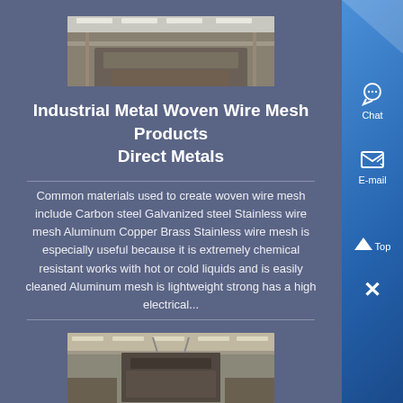[Figure (photo): Industrial factory interior with large metal press or forming machine, overhead lighting, steel beams visible]
Industrial Metal Woven Wire Mesh Products Direct Metals
Common materials used to create woven wire mesh include Carbon steel Galvanized steel Stainless wire mesh Aluminum Copper Brass Stainless wire mesh is especially useful because it is extremely chemical resistant works with hot or cold liquids and is easily cleaned Aluminum mesh is lightweight strong has a high electrical...
[Figure (photo): Industrial factory interior showing large metal equipment or machinery being handled, warehouse setting]